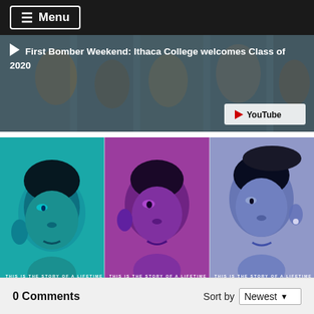≡ Menu
[Figure (screenshot): YouTube video thumbnail for 'First Bomber Weekend: Ithaca College welcomes Class of 2020'. Dark overlay with play button icon and YouTube logo visible.]
▶ First Bomber Weekend: Ithaca College welcomes Class of 2020
[Figure (photo): Moonlight movie poster triptych showing three versions of the main character's face, each with a different color background: teal, purple/pink, and lavender. Each panel shows the text 'THIS IS THE STORY OF A LIFETIME' and 'MOONLIGHT' at the bottom.]
IC student Jharrel Jerome stars in upcoming drama movie
0 Comments
Sort by Newest